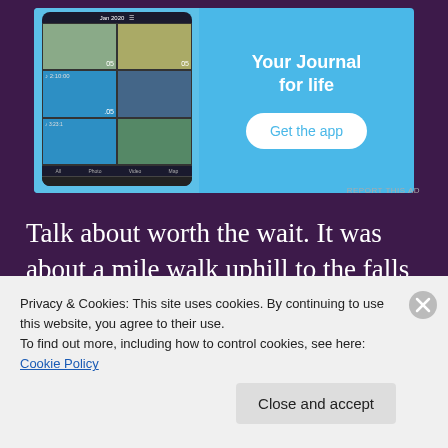[Figure (screenshot): Advertisement for a journal app. Left side shows a phone screen with a photo grid app interface labeled 'Jan 2020'. Right side on light blue background shows text 'Your Journal for life' and a 'Get the app' button.]
REPORT THIS AD
Talk about worth the wait. It was about a mile walk uphill to the falls and the view along the way was beautiful, cascading water at every turn. I knew the moment I
Privacy & Cookies: This site uses cookies. By continuing to use this website, you agree to their use.
To find out more, including how to control cookies, see here: Cookie Policy
Close and accept